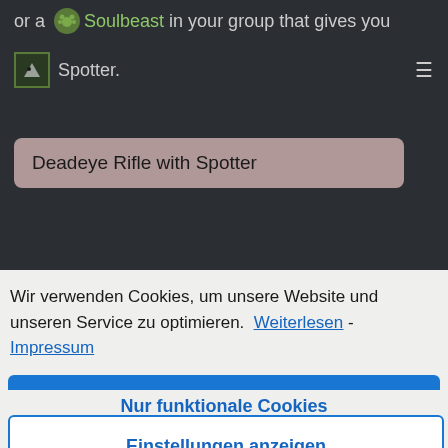or a 🐾 Soulbeast in your group that gives you
🐦 Spotter.
Deadeye Rifle with Spotter
Wir verwenden Cookies, um unsere Website und unseren Service zu optimieren.  Weiterlesen - Impressum
Alle akzeptieren
Nur funktionale Cookies
Einstellungen anzeigen